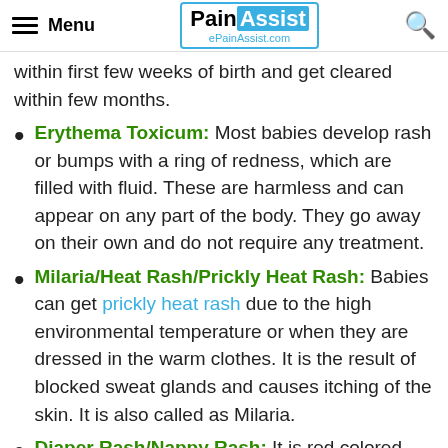Menu | PainAssist ePainAssist.com
within first few weeks of birth and get cleared within few months.
Erythema Toxicum: Most babies develop rash or bumps with a ring of redness, which are filled with fluid. These are harmless and can appear on any part of the body. They go away on their own and do not require any treatment.
Milaria/Heat Rash/Prickly Heat Rash: Babies can get prickly heat rash due to the high environmental temperature or when they are dressed in the warm clothes. It is the result of blocked sweat glands and causes itching of the skin. It is also called as Milaria.
Diaper Rash/Nappy Rash: It is red colored